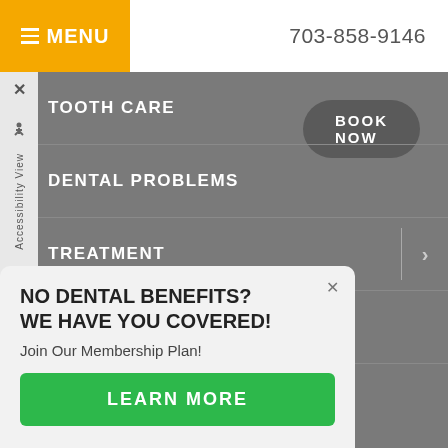[Figure (screenshot): Dental clinic website screenshot showing mobile navigation menu with yellow MENU button, phone number 703-858-9146, BOOK NOW button, nav items (TOOTH CARE, DENTAL PROBLEMS, TREATMENT, PAIN MANAGEMENT), accessibility sidebar, and a popup modal about dental membership plan]
MENU
703-858-9146
BOOK NOW
TOOTH CARE
DENTAL PROBLEMS
TREATMENT
PAIN MANAGEMENT
Accessibility View
NO DENTAL BENEFITS? WE HAVE YOU COVERED!
Join Our Membership Plan!
LEARN MORE